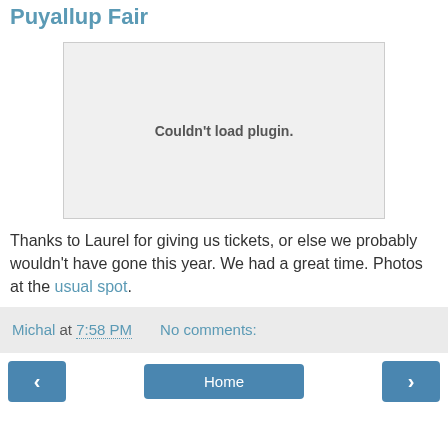Puyallup Fair
[Figure (other): Plugin placeholder box with text 'Couldn't load plugin.']
Thanks to Laurel for giving us tickets, or else we probably wouldn't have gone this year. We had a great time. Photos at the usual spot.
Michal at 7:58 PM   No comments:
< Home >